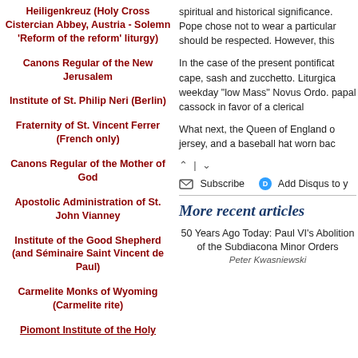Heiligenkreuz (Holy Cross Cistercian Abbey, Austria - Solemn 'Reform of the reform' liturgy)
Canons Regular of the New Jerusalem
Institute of St. Philip Neri (Berlin)
Fraternity of St. Vincent Ferrer (French only)
Canons Regular of the Mother of God
Apostolic Administration of St. John Vianney
Institute of the Good Shepherd (and Séminaire Saint Vincent de Paul)
Carmelite Monks of Wyoming (Carmelite rite)
Piomont Institute of the Holy...
spiritual and historical significance. Pope chose not to wear a particular should be respected. However, this
In the case of the present pontificat cape, sash and zucchetto. Liturgica weekday "low Mass" Novus Ordo. papal cassock in favor of a clerical
What next, the Queen of England o jersey, and a baseball hat worn bac
^ | v
Subscribe   Add Disqus to y
More recent articles
50 Years Ago Today: Paul VI's Abolition of the Subdiacona Minor Orders
Peter Kwasniewski